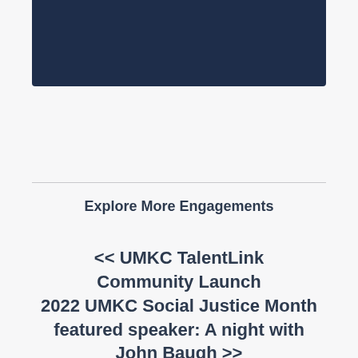[Figure (other): Dark navy blue banner/header image at top of page]
Explore More Engagements
<< UMKC TalentLink Community Launch
2022 UMKC Social Justice Month featured speaker: A night with John Baugh >>